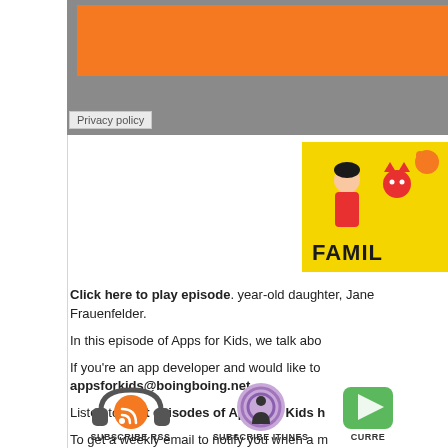[Figure (other): Gray advertisement box with orange banner at top]
Privacy policy
[Figure (illustration): Yellow square app icon with cartoon children and animals labeled FAMIL(Y)]
Click here to play episode. year-old daughter, Jane Frauenfelder.
In this episode of Apps for Kids, we talk abo...
If you're an app developer and would like to ... appsforkids@boingboing.net.
Listen to past episodes of Apps for Kids h...
To get a weekly email to notify you when a m...
[Figure (infographic): Three subscription icons: Subscribe RSS (orange headphones with RSS icon), Subscribe iTunes (purple podcast icon), Current (green icon)]